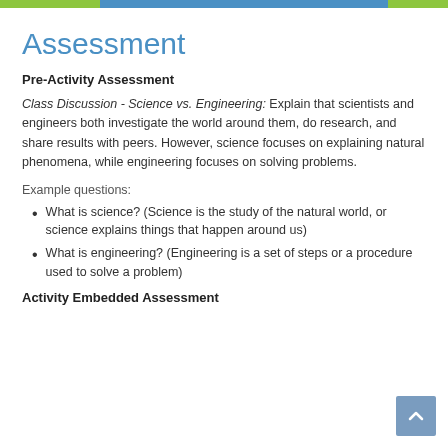Assessment
Pre-Activity Assessment
Class Discussion - Science vs. Engineering: Explain that scientists and engineers both investigate the world around them, do research, and share results with peers. However, science focuses on explaining natural phenomena, while engineering focuses on solving problems.
Example questions:
What is science? (Science is the study of the natural world, or science explains things that happen around us)
What is engineering? (Engineering is a set of steps or a procedure used to solve a problem)
Activity Embedded Assessment